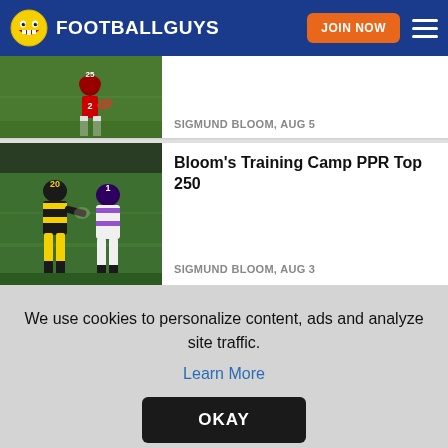[Figure (screenshot): Footballguys website header with logo, JOIN NOW button, and hamburger menu on blue background]
[Figure (photo): Partial football action photo (player running), partially visible card]
SIGMUND BLOOM, AUG 5
[Figure (photo): Football action photo showing two players in game situation, one in black/yellow Steelers uniform and one in white/purple Ravens uniform]
Bloom's Training Camp PPR Top 250
SIGMUND BLOOM, AUG 3
We use cookies to personalize content, ads and analyze site traffic.
Learn More
OKAY
FPC ADP